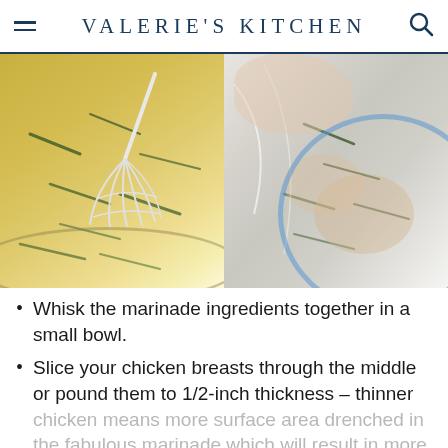VALERIE'S KITCHEN
[Figure (photo): Two food preparation photos side by side: left shows a whisk in a bowl with yellow marinade and herbs; right shows hands placing chicken and herbs into a plastic bag over a bowl.]
Whisk the marinade ingredients together in a small bowl.
Slice your chicken breasts through the middle or pound them to 1/2-inch thickness – thinner chicken means more surface area drenched in the fabulous marinade which will result in more